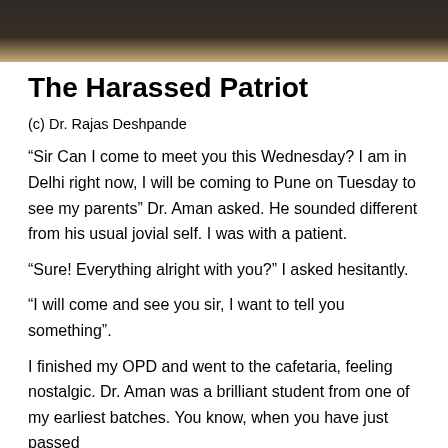[Figure (photo): Top strip showing a dark photographic image, partially visible, with dark tones and a brownish-tan gradient at the bottom.]
The Harassed Patriot
(c) Dr. Rajas Deshpande
“Sir Can I come to meet you this Wednesday? I am in Delhi right now, I will be coming to Pune on Tuesday to see my parents” Dr. Aman asked. He sounded different from his usual jovial self. I was with a patient.
“Sure! Everything alright with you?” I asked hesitantly.
“I will come and see you sir, I want to tell you something”.
I finished my OPD and went to the cafetaria, feeling nostalgic. Dr. Aman was a brilliant student from one of my earliest batches. You know, when you have just passed